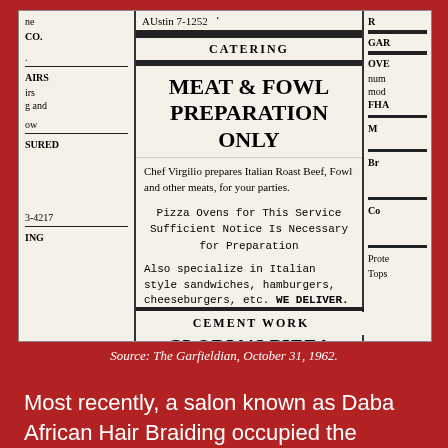[Figure (photo): Scanned newspaper classified advertisement for Gloria's Pizza, showing catering section with 'Meat & Fowl Preparation Only' heading, body text about Chef Virgilio, pizza ovens, Italian style sandwiches, and contact info at 5112 W. North Ave., Phone 622-1835. Flanked by partial columns of other ads.]
Source: The Garfieldian, October 31, 1962.
Most recently, a salon known as Daba African Hair Braiding occupied the storefront of the one-story brick building today. That business has since moved next door